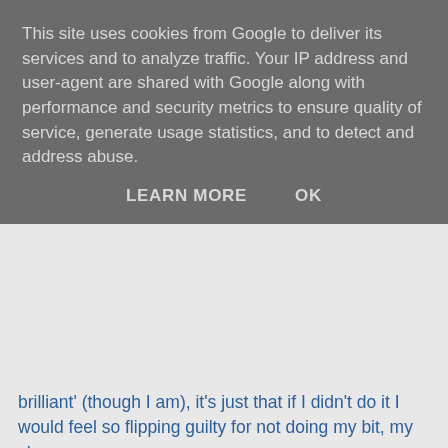This site uses cookies from Google to deliver its services and to analyze traffic. Your IP address and user-agent are shared with Google along with performance and security metrics to ensure quality of service, generate usage statistics, and to detect and address abuse.
LEARN MORE   OK
brilliant' (though I am), it's just that if I didn't do it I would feel so flipping guilty for not doing my bit, my share.
The hardest part of being a father: Worry. When Bess was a baby I worried constantly about room temperature. It was something I could control and focus on. There was a room thermometer in every room, a Glo Egg by the cot and a fan ready to go at a moments notice. I could recite the correct sheet/ clothing combination for every temperature range. You could often here me saying "the Egg's Red!" or " the Egg's blue!" with a sense of dread (if you don't know what a Glo Egg is, it is £20 worth of worry).
I find it hard to cope with the worry of everyone being ok.